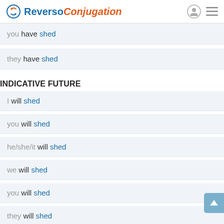Reverso Conjugation
you have shed
they have shed
INDICATIVE FUTURE
I will shed
you will shed
he/she/it will shed
we will shed
you will shed
they will shed
INDICATIVE FUTURE PERFECT